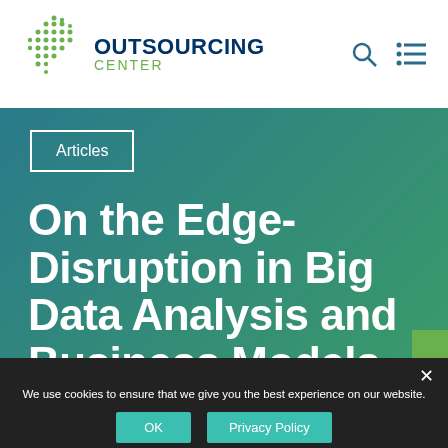[Figure (logo): Outsourcing Center logo with green dot-pattern globe and text 'OUTSOURCING CENTER']
Articles
On the Edge-Disruption in Big Data Analysis and Business Models
LT NOW!
We use cookies to ensure that we give you the best experience on our website. If you continue to use this site we will assume that you are happy with it.
OK
Privacy Policy